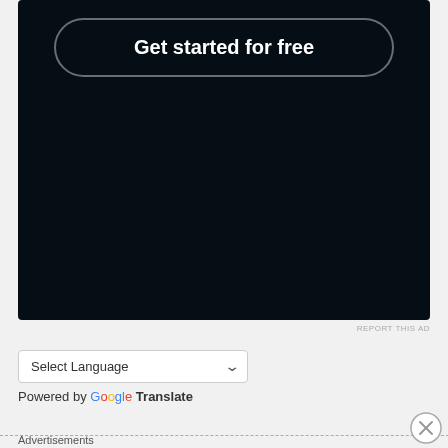[Figure (screenshot): Dark navy/black advertisement box with a 'Get started for free' button with rounded border at the top]
REPORT THIS AD
Select Language
Powered by Google Translate
Advertisements
[Figure (screenshot): WooCommerce banner ad with purple background: 'Turn your hobby into a business in 8 steps']